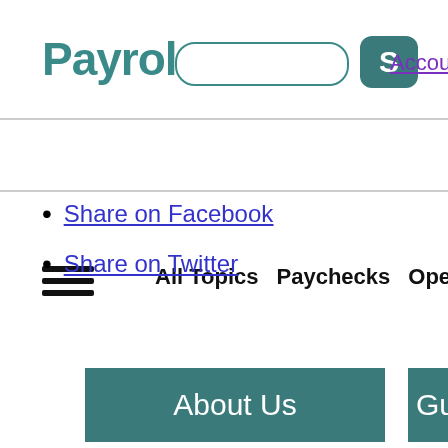Payroll [search box] [S button] Account
All Topics  Paychecks  Operations  Even...
Share on Facebook
Share on Twitter
About Us
Gu...
Privacy
Join...